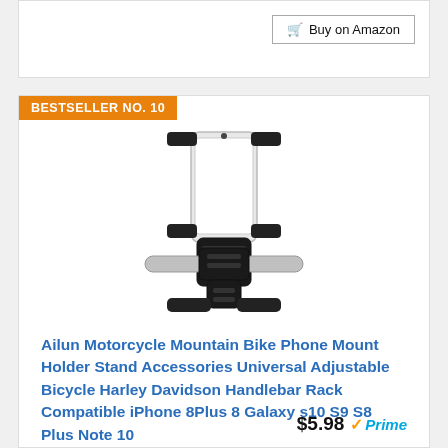[Figure (screenshot): Buy on Amazon button with shopping cart icon at top right of a product card]
Buy on Amazon
BESTSELLER NO. 10
[Figure (photo): Ailun bike phone mount holder product photo showing a black plastic handlebar phone mount with a white phone inserted, mounted on a silver handlebar]
Ailun Motorcycle Mountain Bike Phone Mount Holder Stand Accessories Universal Adjustable Bicycle Harley Davidson Handlebar Rack Compatible iPhone 8Plus 8 Galaxy s10 S9 S8 Plus Note 10
$5.98 Prime